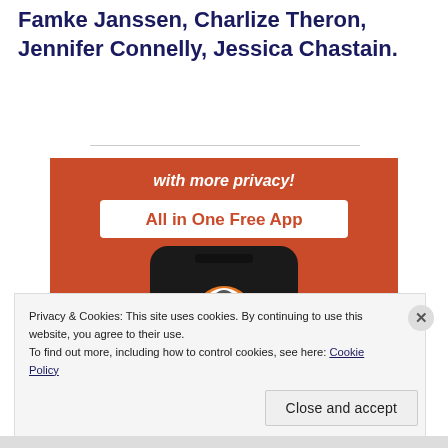Famke Janssen, Charlize Theron, Jennifer Connelly, Jessica Chastain.
[Figure (illustration): DuckDuckGo advertisement banner on orange background showing 'with more privacy! All in One Free App' text with a phone displaying the DuckDuckGo duck logo]
Privacy & Cookies: This site uses cookies. By continuing to use this website, you agree to their use.
To find out more, including how to control cookies, see here: Cookie Policy
Close and accept